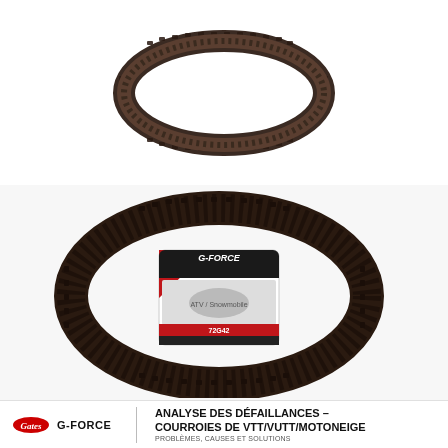[Figure (photo): A dark rubber CVT drive belt (toothed/cogged) shown as a loop/oval on a white background — top portion of page]
[Figure (photo): A Gates G-Force CVT drive belt in product packaging with red/black label showing snowmobile/ATV action imagery, belt coiled around the box]
[Figure (logo): Gates logo (script) and G-FORCE logo side by side]
ANALYSE DES DÉFAILLANCES – COURROIES DE VTT/VUTT/MOTONEIGE
PROBLÈMES, CAUSES ET SOLUTIONS